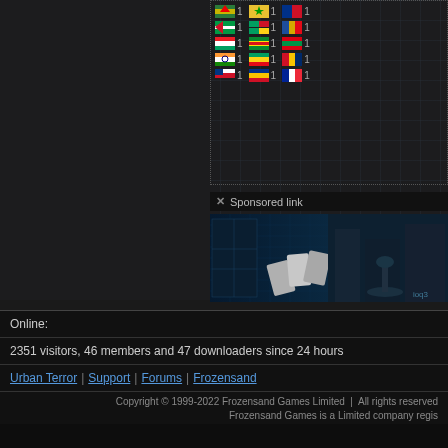[Figure (screenshot): Top portion of a gaming website (Urban Terror / Frozensand) with dark grid background showing country flags with counts and a sponsored link banner with game screenshot]
✕ Sponsored link
[Figure (photo): Sponsored advertisement banner showing a dark blue-tinted game scene (Urban Terror) with playing card/tile graphics on the left and a courtyard scene on the right]
Online:
2351 visitors, 46 members and 47 downloaders since 24 hours
Urban Terror | Support | Forums | Frozensand
Copyright © 1999-2022 Frozensand Games Limited  |  All rights reserved
Frozensand Games is a Limited company regis